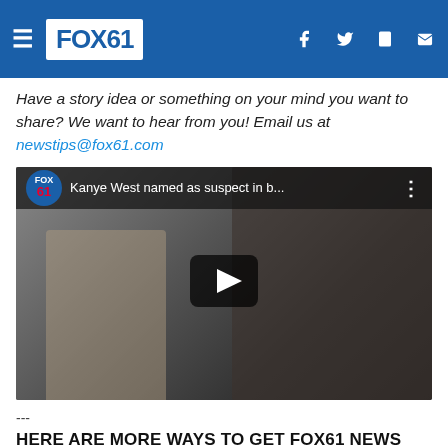FOX61
Have a story idea or something on your mind you want to share? We want to hear from you! Email us at newstips@fox61.com
[Figure (screenshot): Fox61 YouTube video thumbnail showing Kanye West named as suspect in b... with a play button overlay. Two men visible in the frame.]
---
HERE ARE MORE WAYS TO GET FOX61 NEWS